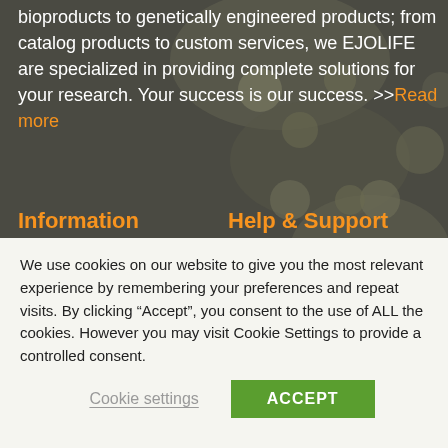bioproducts to genetically engineered products; from catalog products to custom services, we EJOLIFE are specialized in providing complete solutions for your research. Your success is our success. >>Read more
Information
Help & Support
News
Technical Support
Terms of Service
Order Support
Privacy Policy
Contact Us
Imprint
Free antibody sample
We use cookies on our website to give you the most relevant experience by remembering your preferences and repeat visits. By clicking “Accept”, you consent to the use of ALL the cookies. However you may visit Cookie Settings to provide a controlled consent.
Cookie settings
ACCEPT